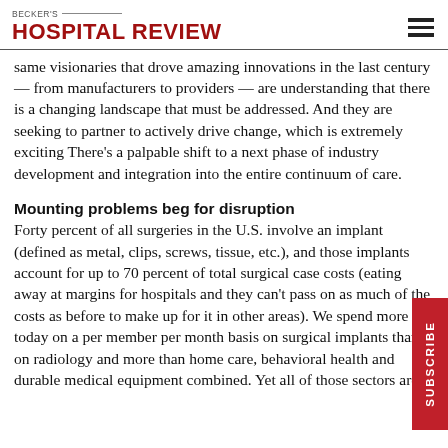BECKER'S HOSPITAL REVIEW
same visionaries that drove amazing innovations in the last century — from manufacturers to providers — are understanding that there is a changing landscape that must be addressed. And they are seeking to partner to actively drive change, which is extremely exciting There's a palpable shift to a next phase of industry development and integration into the entire continuum of care.
Mounting problems beg for disruption
Forty percent of all surgeries in the U.S. involve an implant (defined as metal, clips, screws, tissue, etc.), and those implants account for up to 70 percent of total surgical case costs (eating away at margins for hospitals and they can't pass on as much of the costs as before to make up for it in other areas). We spend more today on a per member per month basis on surgical implants than on radiology and more than home care, behavioral health and durable medical equipment combined. Yet all of those sectors are